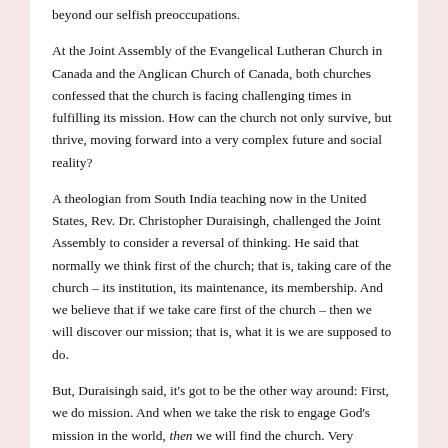beyond our selfish preoccupations.
At the Joint Assembly of the Evangelical Lutheran Church in Canada and the Anglican Church of Canada, both churches confessed that the church is facing challenging times in fulfilling its mission. How can the church not only survive, but thrive, moving forward into a very complex future and social reality?
A theologian from South India teaching now in the United States, Rev. Dr. Christopher Duraisingh, challenged the Joint Assembly to consider a reversal of thinking. He said that normally we think first of the church; that is, taking care of the church – its institution, its maintenance, its membership. And we believe that if we take care first of the church – then we will discover our mission; that is, what it is we are supposed to do.
But, Duraisingh said, it's got to be the other way around: First, we do mission. And when we take the risk to engage God's mission in the world, then we will find the church. Very challenging and prophetic words, I find. First, we look